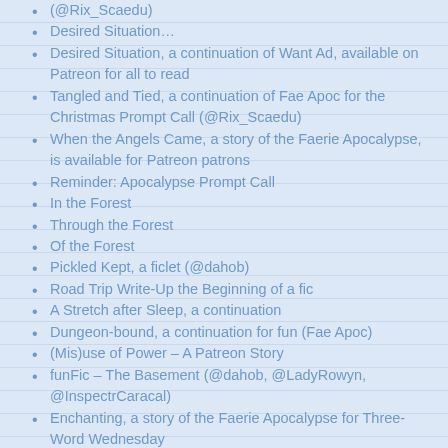(@Rix_Scaedu)
Desired Situation…
Desired Situation, a continuation of Want Ad, available on Patreon for all to read
Tangled and Tied, a continuation of Fae Apoc for the Christmas Prompt Call (@Rix_Scaedu)
When the Angels Came, a story of the Faerie Apocalypse, is available for Patreon patrons
Reminder: Apocalypse Prompt Call
In the Forest
Through the Forest
Of the Forest
Pickled Kept, a ficlet (@dahob)
Road Trip Write-Up the Beginning of a fic
A Stretch after Sleep, a continuation
Dungeon-bound, a continuation for fun (Fae Apoc)
(Mis)use of Power – A Patreon Story
funFic – The Basement (@dahob, @LadyRowyn, @InspectrCaracal)
Enchanting, a story of the Faerie Apocalypse for Three-Word Wednesday
#3WW Three-Word Wednesday – Ignorance/Bliss, a ficlet of Fae…